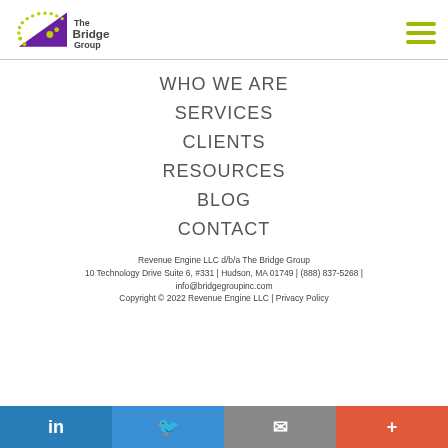[Figure (logo): The Bridge Group logo with purple triangle and yellow-green dots]
WHO WE ARE
SERVICES
CLIENTS
RESOURCES
BLOG
CONTACT
Revenue Engine LLC d/b/a The Bridge Group
10 Technology Drive Suite 6, #331 | Hudson, MA 01749 | (888) 837-5268 | info@bridgegroupinc.com
Copyright © 2022 Revenue Engine LLC | Privacy Policy